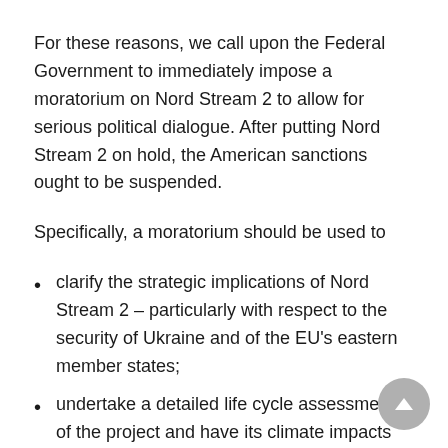For these reasons, we call upon the Federal Government to immediately impose a moratorium on Nord Stream 2 to allow for serious political dialogue. After putting Nord Stream 2 on hold, the American sanctions ought to be suspended.
Specifically, a moratorium should be used to
clarify the strategic implications of Nord Stream 2 – particularly with respect to the security of Ukraine and of the EU's eastern member states;
undertake a detailed life cycle assessment of the project and have its climate impacts examined by an independent body;
push forward with a common European energy